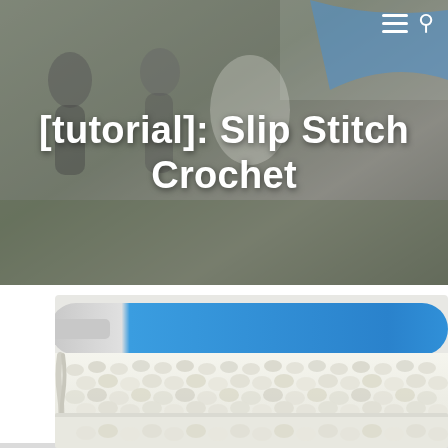[Figure (photo): Background photo of people outdoors with a crochet blanket, overlaid with title text and navigation icons (hamburger menu and search icon)]
[tutorial]: Slip Stitch Crochet
[Figure (photo): Close-up photo of white slip stitch crochet swatch with a blue-handled crochet hook resting on top]
[Figure (photo): Partially visible second photo of white crochet swatch at bottom of page]